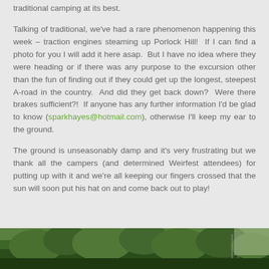traditional camping at its best.
Talking of traditional, we've had a rare phenomenon happening this week – traction engines steaming up Porlock Hill!  If I can find a photo for you I will add it here asap.  But I have no idea where they were heading or if there was any purpose to the excursion other than the fun of finding out if they could get up the longest, steepest A-road in the country.  And did they get back down?  Were there brakes sufficient?!  If anyone has any further information I'd be glad to know (sparkhayes@hotmail.com), otherwise I'll keep my ear to the ground.
The ground is unseasonably damp and it's very frustrating but we thank all the campers (and determined Weirfest attendees) for putting up with it and we're all keeping our fingers crossed that the sun will soon put his hat on and come back out to play!
[Figure (photo): Outdoor nature/camping scene with green trees and foliage visible at the bottom of the page]